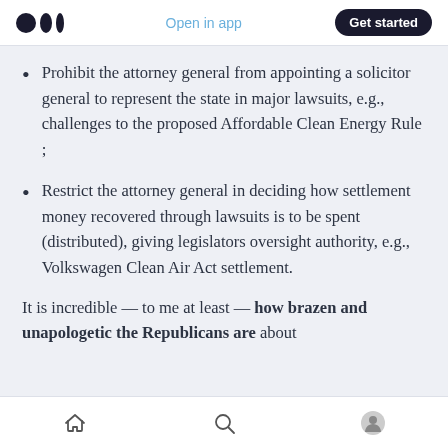Open in app | Get started
Prohibit the attorney general from appointing a solicitor general to represent the state in major lawsuits, e.g., challenges to the proposed Affordable Clean Energy Rule ;
Restrict the attorney general in deciding how settlement money recovered through lawsuits is to be spent (distributed), giving legislators oversight authority, e.g., Volkswagen Clean Air Act settlement.
It is incredible — to me at least — how brazen and unapologetic the Republicans are about
Home | Search | Profile